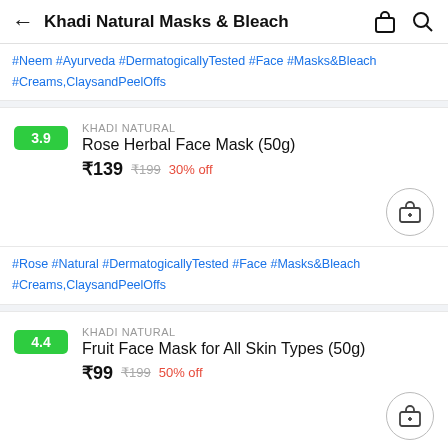Khadi Natural Masks & Bleach
#Neem #Ayurveda #DermatogicallyTested #Face #Masks&Bleach #Creams,ClaysandPeelOffs
KHADI NATURAL
Rose Herbal Face Mask (50g)
₹139 ₹199 30% off
#Rose #Natural #DermatogicallyTested #Face #Masks&Bleach #Creams,ClaysandPeelOffs
KHADI NATURAL
Fruit Face Mask for All Skin Types (50g)
₹99 ₹199 50% off
#MultaniMitti #Orange #Natural #DermatogicallyTested #Face #Masks&Bleach #Creams,ClaysandPeelOffs